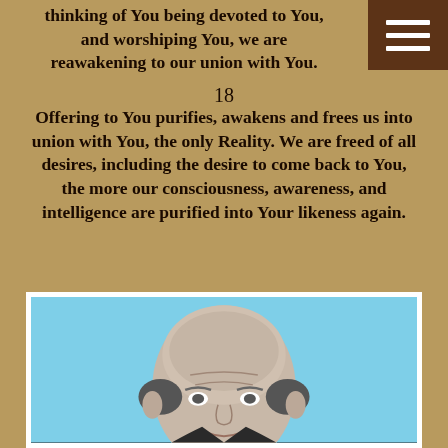thinking of You being devoted to You, and worshiping You, we are reawakening to our union with You.
18
Offering to You purifies, awakens and frees us into union with You, the only Reality. We are freed of all desires, including the desire to come back to You, the more our consciousness, awareness, and intelligence are purified into Your likeness again.
[Figure (photo): Black and white portrait photograph of a bald elderly man, shown from shoulders up, against a light blue background, inside a white frame]